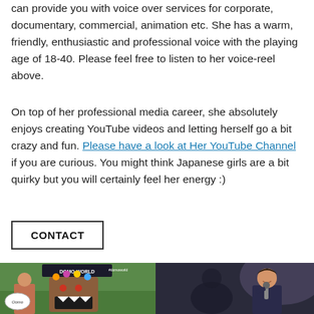can provide you with voice over services for corporate, documentary, commercial, animation etc. She has a warm, friendly, enthusiastic and professional voice with the playing age of 18-40. Please feel free to listen to her voice-reel above.
On top of her professional media career, she absolutely enjoys creating YouTube videos and letting herself go a bit crazy and fun. Please have a look at Her YouTube Channel if you are curious. You might think Japanese girls are a bit quirky but you will certainly feel her energy :)
CONTACT
[Figure (photo): Photo of a person posing with a Domo mascot costume character at an event. A sign reading 'Domo World' is visible in the background. The person holds a 'Domo' sign.]
[Figure (photo): Photo of a woman speaking on stage holding a microphone, wearing a dark top, smiling, against a dark curtain background.]